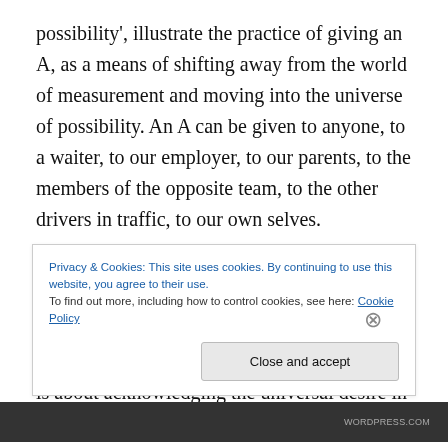possibility', illustrate the practice of giving an A, as a means of shifting away from the world of measurement and moving into the universe of possibility. An A can be given to anyone, to a waiter, to our employer, to our parents, to the members of the opposite team, to the other drivers in traffic, to our own selves.
The practice of giving an A does not involve approving of everyone and everything. It does not entail any fallacy. It is about being open to a perspective that is different than your own. It is about acknowledging the universal desire in
Privacy & Cookies: This site uses cookies. By continuing to use this website, you agree to their use.
To find out more, including how to control cookies, see here: Cookie Policy
Close and accept